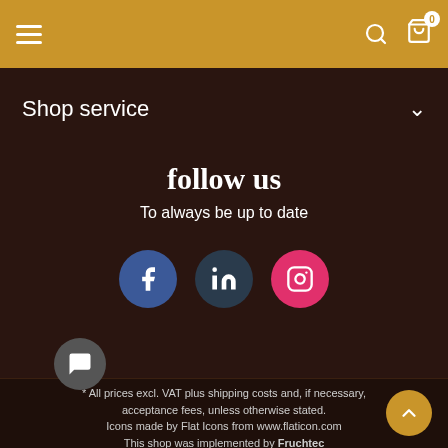Shop navigation header with menu, search and cart (0 items)
Shop service
follow us
To always be up to date
[Figure (infographic): Three social media icons: Facebook (blue circle), LinkedIn (dark circle), Instagram (pink circle)]
* All prices excl. VAT plus shipping costs and, if necessary, acceptance fees, unless otherwise stated. Icons made by Flat Icons from www.flaticon.com This shop was implemented by Fruchtec